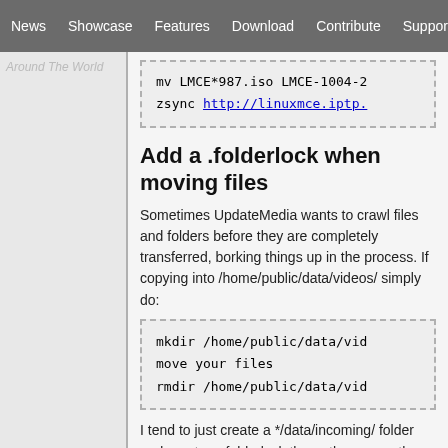News | Showcase | Features | Download | Contribute | Support
Around The World
[Figure (screenshot): Code box showing: mv LMCE*987.iso LMCE-1004-2
zsync http://linuxmce.iptp.]
Add a .folderlock when moving files
Sometimes UpdateMedia wants to crawl files and folders before they are completely transferred, borking things up in the process. If copying into /home/public/data/videos/ simply do:
[Figure (screenshot): Code box showing:
mkdir /home/public/data/vid
move your files
rmdir /home/public/data/vid]
I tend to just create a */data/incoming/ folder and create a .folderlock there, then move the files into their proper directory when it is transferred to the